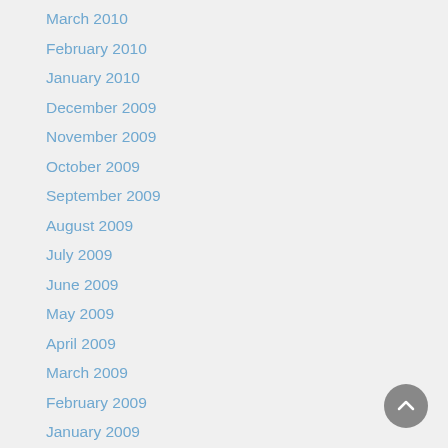March 2010
February 2010
January 2010
December 2009
November 2009
October 2009
September 2009
August 2009
July 2009
June 2009
May 2009
April 2009
March 2009
February 2009
January 2009
December 2008
November 2008
October 2008
September 2008
August 2008